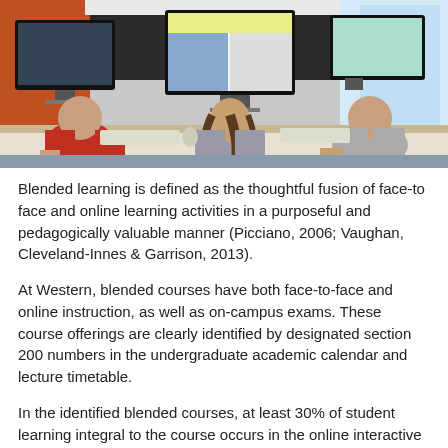[Figure (photo): Students sitting at computers in a modern classroom lab, viewed from behind, working on desktop computers with large monitors.]
Blended learning is defined as the thoughtful fusion of face-to face and online learning activities in a purposeful and pedagogically valuable manner (Picciano, 2006; Vaughan, Cleveland-Innes & Garrison, 2013).
At Western, blended courses have both face-to-face and online instruction, as well as on-campus exams. These course offerings are clearly identified by designated section 200 numbers in the undergraduate academic calendar and lecture timetable.
In the identified blended courses, at least 30% of student learning integral to the course occurs in the online interactive